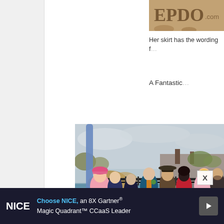[Figure (photo): Partial top image showing a sign/logo with text partially visible, brownish-tan background]
Her skirt has the wording f…
A Fantastic…
[Figure (photo): Group photo of people in Fantastic Beasts cosplay costumes at what appears to be Universal Studios/Islands of Adventure theme park, with water area and attractions visible in background. People wearing period costumes including pink dress, navy coat, dark coats, red dress, and pink suit.]
X
[Figure (other): Advertisement banner: NICE logo, 'Choose NICE, an 8X Gartner® Magic Quadrant™ CCaaS Leader' with play button icon]